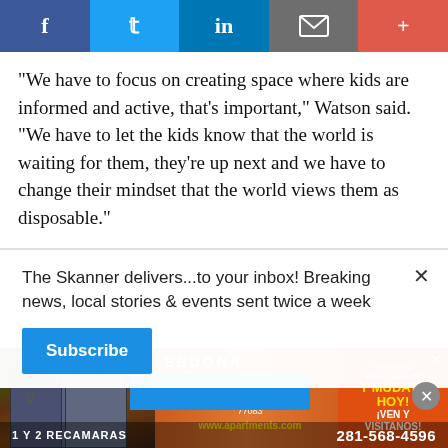[Figure (screenshot): Social sharing bar with icons for Facebook, Twitter, LinkedIn, email, and a plus button]
“We have to focus on creating space where kids are informed and active, that’s important,” Watson said. “We have to let the kids know that the world is waiting for them, they’re up next and we have to change their mindset that the world views them as disposable.”
Rodney Hopson, a professor and associate dean of
[Figure (screenshot): Newsletter subscription popup: 'The Skanner delivers...to your inbox! Breaking news, local stories & events sent twice a week' with a Subscribe button and close X]
[Figure (screenshot): Sedona Apartments advertisement: 14402 Pavilion Point, Houston TX 77083, www.apartments.com, 281-568-4596, 1 Y 2 RECAMARAS, RENTA TU APARTAMENTO Y MUDATE HOY! IVEN Y VISITANOS!]